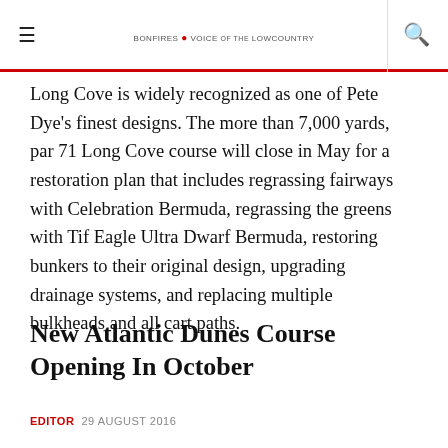≡  BONFIRES & VOICE of the LOWCOUNTRY  🔍
Long Cove is widely recognized as one of Pete Dye's finest designs. The more than 7,000 yards, par 71 Long Cove course will close in May for a restoration plan that includes regrassing fairways with Celebration Bermuda, regrassing the greens with Tif Eagle Ultra Dwarf Bermuda, restoring bunkers to their original design, upgrading drainage systems, and replacing multiple bulkheads and all cart paths.
New Atlantic Dunes Course Opening In October
EDITOR  29 AUGUST 2016